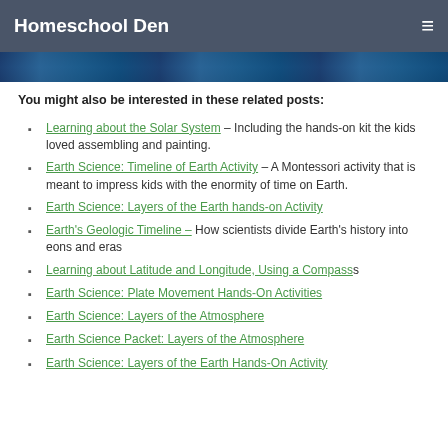Homeschool Den
[Figure (photo): Dark blue image strip, appears to be an outdoor/nature scene]
You might also be interested in these related posts:
Learning about the Solar System – Including the hands-on kit the kids loved assembling and painting.
Earth Science: Timeline of Earth Activity – A Montessori activity that is meant to impress kids with the enormity of time on Earth.
Earth Science: Layers of the Earth hands-on Activity
Earth's Geologic Timeline – How scientists divide Earth's history into eons and eras
Learning about Latitude and Longitude, Using a Compass
Earth Science: Plate Movement Hands-On Activities
Earth Science: Layers of the Atmosphere
Earth Science Packet: Layers of the Atmosphere
Earth Science: Layers of the Earth Hands-On Activity